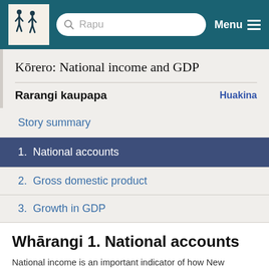Rapu  Menu
Kōrero: National income and GDP
Rarangi kaupapa  Huakina
Story summary
1. National accounts
2. Gross domestic product
3. Growth in GDP
Whārangi 1. National accounts
National income is an important indicator of how New